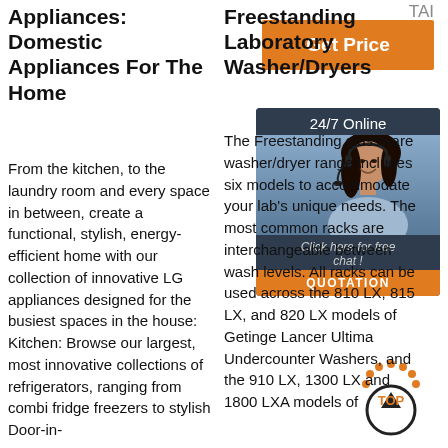TAI
[Figure (other): Orange 'Get Price' button]
Appliances: Domestic Appliances For The Home
From the kitchen, to the laundry room and every space in between, create a functional, stylish, energy-efficient home with our collection of innovative LG appliances designed for the busiest spaces in the house: Kitchen: Browse our largest, most innovative collections of refrigerators, ranging from combi fridge freezers to stylish Door-in-
Freestanding Laboratory Washer/Dryers
The Freestanding glassware washer/dryer range includes six models to accommodate your lab's unique needs. The most common racks are interchangeable between wash levels. All racks can be used across the 810 LX, 815 LX, and 820 LX models of Getinge Lancer Ultima Undercounter Washers, and the 910 LX, 1300 LX and 1800 LXA models of
[Figure (photo): 24/7 Online customer service chat widget with woman wearing headset]
[Figure (illustration): TOP scroll-to-top circular arrow icon in orange]